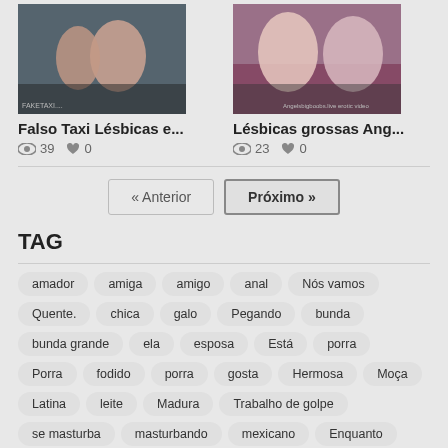[Figure (photo): Two women in a taxi/car interior]
Falso Taxi Lésbicas e...
39 views, 0 likes
[Figure (photo): Two women in casual/bikini attire on a couch]
Lésbicas grossas Ang...
23 views, 0 likes
« Anterior   Próximo »
TAG
amador
amiga
amigo
anal
Nós vamos
Quente.
chica
galo
Pegando
bunda
bunda grande
ela
esposa
Está
porra
Porra
fodido
porra
gosta
Hermosa
Moça
Latina
leite
Madura
Trabalho de golpe
se masturba
masturbando
mexicano
Enquanto
Mulher
NOIVA
Para
Papel
Porno
antes de
Bichano